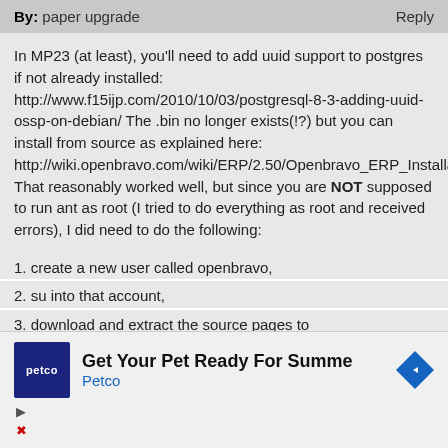By: paper upgrade   Reply
In MP23 (at least), you'll need to add uuid support to postgres if not already installed: http://www.f15ijp.com/2010/10/03/postgresql-8-3-adding-uuid-ossp-on-debian/ The .bin no longer exists(!?) but you can install from source as explained here: http://wiki.openbravo.com/wiki/ERP/2.50/Openbravo_ERP_Installation/Custom_Installation That reasonably worked well, but since you are NOT supposed to run ant as root (I tried to do everything as root and received errors), I did need to do the following:
1. create a new user called openbravo,
2. su into that account,
3. download and extract the source pages to
[Figure (infographic): Petco advertisement banner: 'Get Your Pet Ready For Summe' with Petco logo and navigation arrow icon]